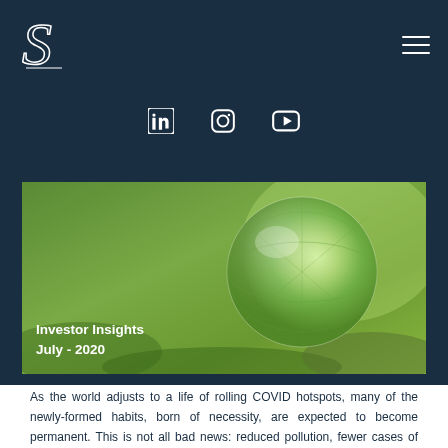[Figure (logo): Stylized 'S' logo in white on dark navy background]
[Figure (infographic): Social media icons: LinkedIn, Instagram, YouTube in white on dark navy background]
[Figure (photo): Green grass background with glass globe/sphere reflecting green landscape, overlaid with text 'Investor Insights July - 2020']
Investor Insights
July - 2020
As the world adjusts to a life of rolling COVID hotspots, many of the newly-formed habits, born of necessity, are expected to become permanent. This is not all bad news: reduced pollution, fewer cases of pollution-linked serious childhood allergies and asthma, an often improved worklife